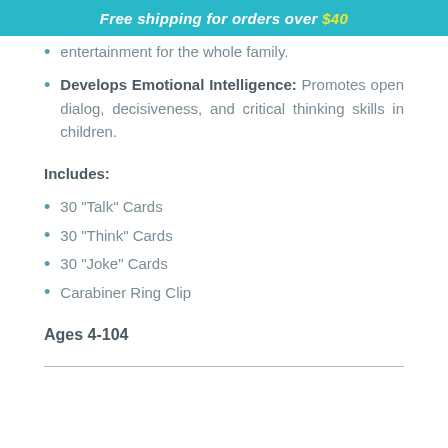Free shipping for orders over $40
entertainment for the whole family.
Develops Emotional Intelligence: Promotes open dialog, decisiveness, and critical thinking skills in children.
Includes:
30 "Talk" Cards
30 "Think" Cards
30 "Joke" Cards
Carabiner Ring Clip
Ages 4-104